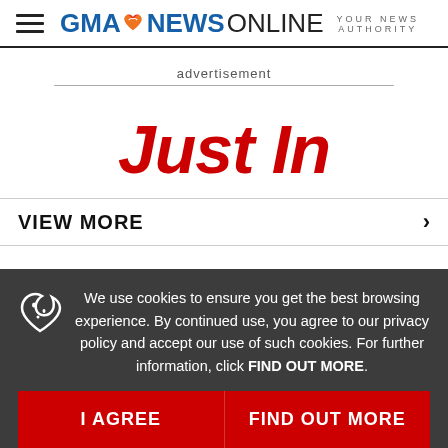GMA NEWS ONLINE — YOUR NEWS AUTHORITY
advertisement
Just In
VIEW MORE
We use cookies to ensure you get the best browsing experience. By continued use, you agree to our privacy policy and accept our use of such cookies. For further information, click FIND OUT MORE.
I AGREE
FIND OUT MORE